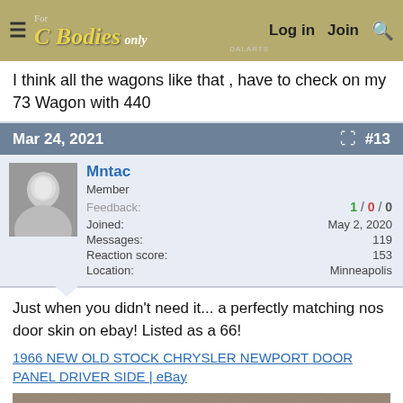For C Bodies Only — Log in  Join  Search
I think all the wagons like that , have to check on my 73 Wagon with 440
Mar 24, 2021  #13
Mntac
Member
Feedback: 1 / 0 / 0
Joined: May 2, 2020
Messages: 119
Reaction score: 153
Location: Minneapolis
Just when you didn't need it... a perfectly matching nos door skin on ebay! Listed as a 66!
1966 NEW OLD STOCK CHRYSLER NEWPORT DOOR PANEL DRIVER SIDE | eBay
[Figure (photo): Partial photo of a car door panel or similar automotive part, appears to be a brownish/gray surface]